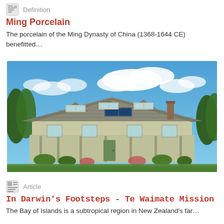Definition
Ming Porcelain
The porcelain of the Ming Dynasty of China (1368-1644 CE) benefitted…
[Figure (photo): A historic colonial-style house with a shingled roof and dormer windows, set among green trees under a blue sky with clouds. This is Te Waimate Mission in the Bay of Islands, New Zealand.]
Article
In Darwin's Footsteps - Te Waimate Mission
The Bay of Islands is a subtropical region in New Zealand's far…